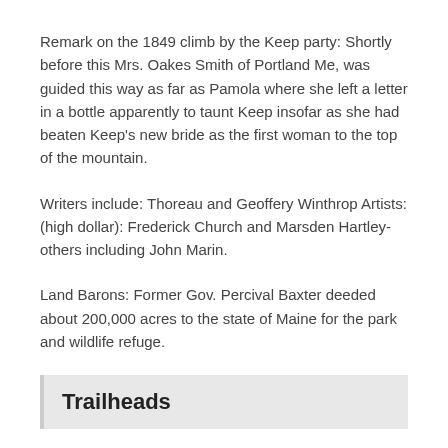Remark on the 1849 climb by the Keep party: Shortly before this Mrs. Oakes Smith of Portland Me, was guided this way as far as Pamola where she left a letter in a bottle apparently to taunt Keep insofar as she had beaten Keep's new bride as the first woman to the top of the mountain.
Writers include: Thoreau and Geoffery Winthrop Artists: (high dollar): Frederick Church and Marsden Hartley- others including John Marin.
Land Barons: Former Gov. Percival Baxter deeded about 200,000 acres to the state of Maine for the park and wildlife refuge.
Trailheads
Park trails are blazed a baby blue except the white blazed Appalachian